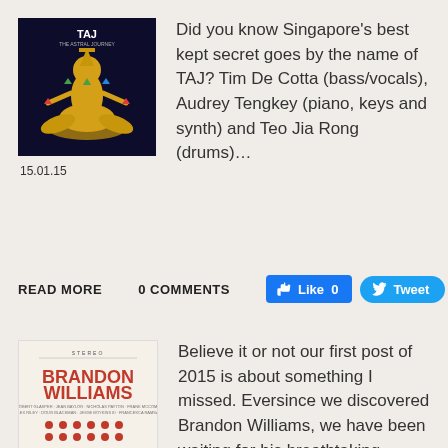[Figure (photo): Album cover artwork for TAJ - dark background with golden meditating figure surrounded by colorful gems/crystals in lotus position]
15.01.15
Did you know Singapore's best kept secret goes by the name of TAJ? Tim De Cotta (bass/vocals), Audrey Tengkey (piano, keys and synth) and Teo Jia Rong (drums)...
READ MORE
0 COMMENTS
[Figure (screenshot): Facebook Like button showing 0 likes]
[Figure (screenshot): Twitter Tweet button]
[Figure (photo): Album cover for Brandon Williams - cream/beige colored cover with BRANDON WILLIAMS text in red and dot grid pattern below]
Believe it or not our first post of 2015 is about something I missed. Eversince we discovered Brandon Williams, we have been waiting for his breathtaking album, entitled...